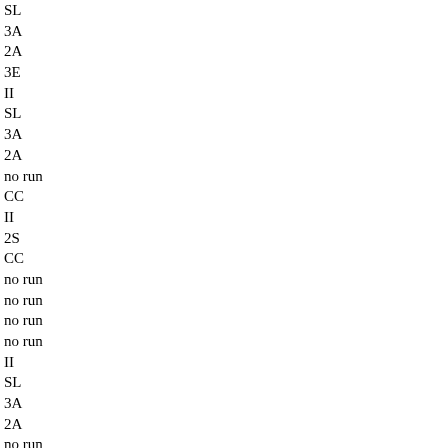SL
3A
2A
3E
II
SL
3A
2A
no run
CC
II
2S
CC
no run
no run
no run
no run
II
SL
3A
2A
no run
no run
II
SL
3A